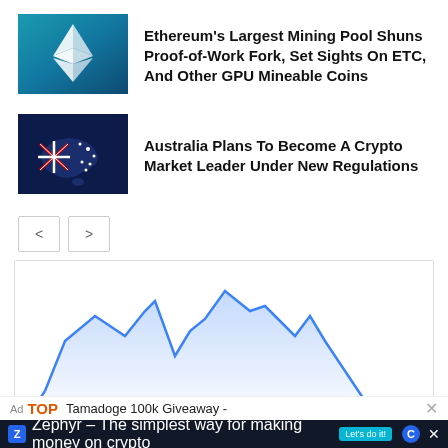[Figure (illustration): Ethereum logo (diamond shape with reflection) on teal/blue gradient background]
Ethereum's Largest Mining Pool Shuns Proof-of-Work Fork, Set Sights On ETC, And Other GPU Mineable Coins
[Figure (illustration): Australia map silhouette with Australian flag colors on dark navy background]
Australia Plans To Become A Crypto Market Leader Under New Regulations
[Figure (area-chart): Blue area/line chart showing crypto price fluctuations, partially visible, with price peaks and valleys]
Ad TOP Tamadoge 100k Giveaway -
Zephyr - The simplest way for making money on crypto